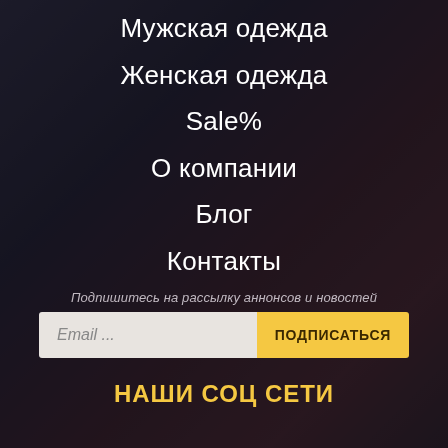Мужская одежда
Женская одежда
Sale%
О компании
Блог
Контакты
Подпишитесь на рассылку аннонсов и новостей
Email ...
ПОДПИСАТЬСЯ
НАШИ СОЦ СЕТИ
[Figure (illustration): Social media icons row: Instagram, VKontakte, Viber/WhatsApp, Telegram]